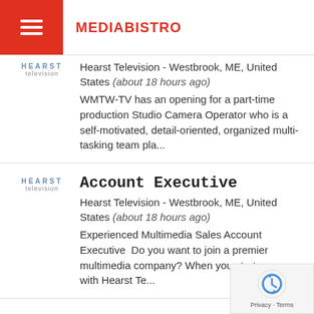MEDIABISTRO
Hearst Television - Westbrook, ME, United States (about 18 hours ago) WMTW-TV has an opening for a part-time production Studio Camera Operator who is a self-motivated, detail-oriented, organized multi-tasking team pla...
Account Executive
Hearst Television - Westbrook, ME, United States (about 18 hours ago) Experienced Multimedia Sales Account Executive  Do you want to join a premier multimedia company? When you start a career with Hearst Te...